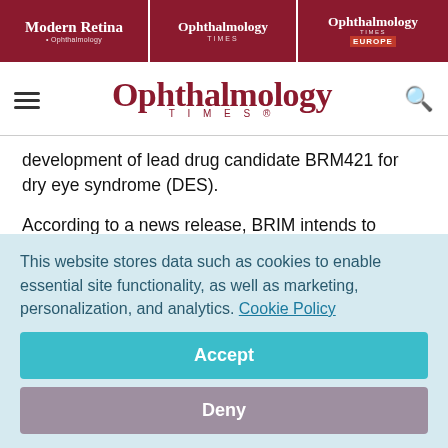Modern Retina | Ophthalmology Times | Ophthalmology Times Europe
[Figure (logo): Ophthalmology Times logo with hamburger menu and search icon]
development of lead drug candidate BRM421 for dry eye syndrome (DES).
According to a news release, BRIM intends to initiate Phase 3 clinical studies with Ora's support later this year.
BRM421 is based on BRIM's proprietary stem cell regenerative
This website stores data such as cookies to enable essential site functionality, as well as marketing, personalization, and analytics. Cookie Policy
Accept
Deny